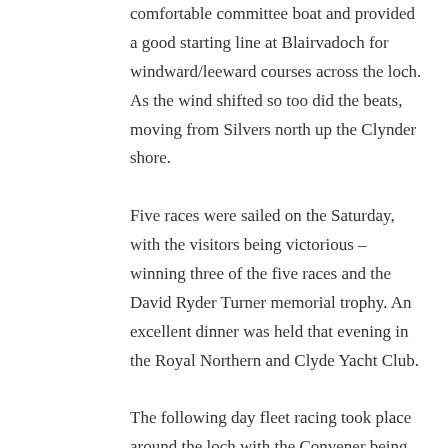comfortable committee boat and provided a good starting line at Blairvadoch for windward/leeward courses across the loch. As the wind shifted so too did the beats, moving from Silvers north up the Clynder shore.
Five races were sailed on the Saturday, with the visitors being victorious – winning three of the five races and the David Ryder Turner memorial trophy. An excellent dinner was held that evening in the Royal Northern and Clyde Yacht Club.
The following day fleet racing took place around the loch with the Convener being Race Officer. Crews from the previous day's team racing